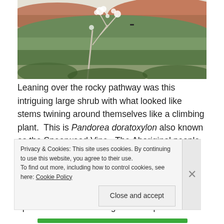[Figure (photo): Outdoor landscape photo showing a large shrub/tree with white flowers and twining stems in the foreground, against a backdrop of scrubby Australian outback vegetation and reddish hills under a pale sky.]
Leaning over the rocky pathway was this intriguing large shrub with what looked like  stems twining around themselves like a climbing plant.  This is Pandorea doratoxylon also known as the Spearwood Vine.  The Aboriginal people use this plant for spears hence its common name. The long twining stems are light weight and are straightened and hardened over a fire.  The flowers are quite pretty when one comes upon them in such a tough landscape.
Privacy & Cookies: This site uses cookies. By continuing to use this website, you agree to their use.
To find out more, including how to control cookies, see here: Cookie Policy
Close and accept